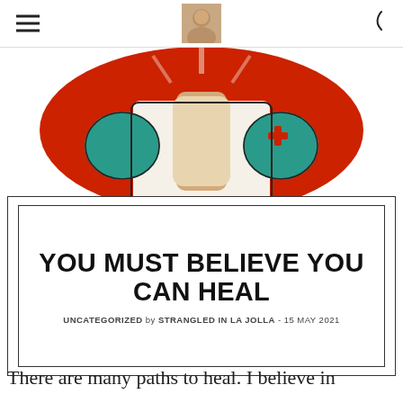[Figure (illustration): Stylized poster illustration of a person in a white coat (medical professional) with raised fists, on a red circular background with a red cross on the sleeve — bold graphic art style in teal, cream, and red.]
YOU MUST BELIEVE YOU CAN HEAL
UNCATEGORIZED by STRANGLED IN LA JOLLA - 15 MAY 2021
There are many paths to heal. I believe in